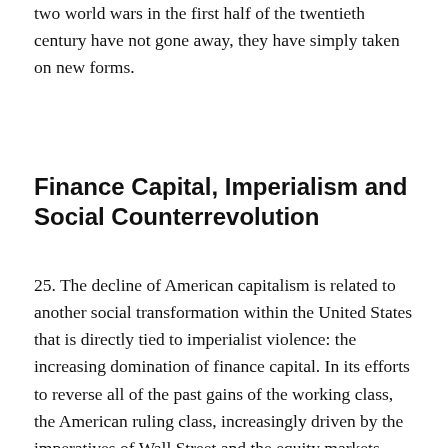two world wars in the first half of the twentieth century have not gone away, they have simply taken on new forms.
Finance Capital, Imperialism and Social Counterrevolution
25. The decline of American capitalism is related to another social transformation within the United States that is directly tied to imperialist violence: the increasing domination of finance capital. In its efforts to reverse all of the past gains of the working class, the American ruling class, increasingly driven by the imperatives of Wall Street and the equity markets, launched a frenzy of job-cuts and corporate mergers. As production was transferred outside of the United States, within the country the accumulation of wealth was increasingly divorced from any connection